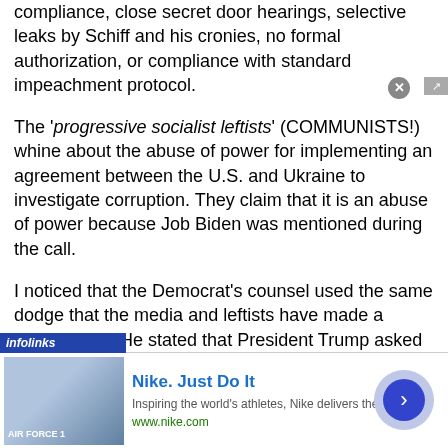compliance, close secret door hearings, selective leaks by Schiff and his cronies, no formal authorization, or compliance with standard impeachment protocol.
The 'progressive socialist leftists' (COMMUNISTS!) whine about the abuse of power for implementing an agreement between the U.S. and Ukraine to investigate corruption. They claim that it is an abuse of power because Job Biden was mentioned during the call.
I noticed that the Democrat's counsel used the same dodge that the media and leftists have made a talking point. He stated that President Trump asked for a favor and then directly went into talking about Biden, Hunter, and Burisma.
This leaves out the truth that the discussion about Biden was about Burisma and the corruption with the Bidens. And there
[Figure (screenshot): Infolinks ad banner overlay showing a Nike advertisement: 'Nike. Just Do It' with tagline 'Inspiring the world's athletes, Nike delivers the deals' and url www.nike.com, with a thumbnail image, close button, and forward arrow button.]